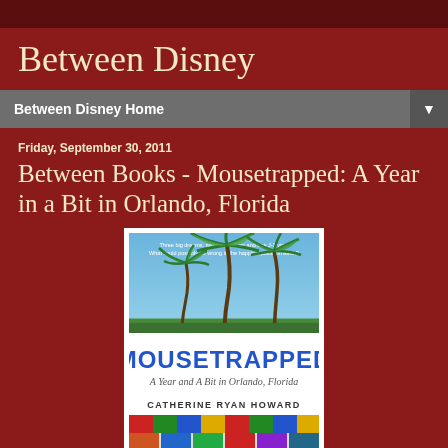Between Disney
Between Disney Home
Friday, September 30, 2011
Between Books - Mousetrapped: A Year in a Bit in Orlando, Florida
[Figure (photo): Book cover for 'Mousetrapped: A Year and A Bit in Orlando, Florida' by Catherine Ryan Howard. Shows palm trees against a blue sky on the top half, with the title 'MOUSETRAPPED' in large bold blue letters, subtitle in italic script, and author name below. Bottom strip has colorful patterned imagery.]